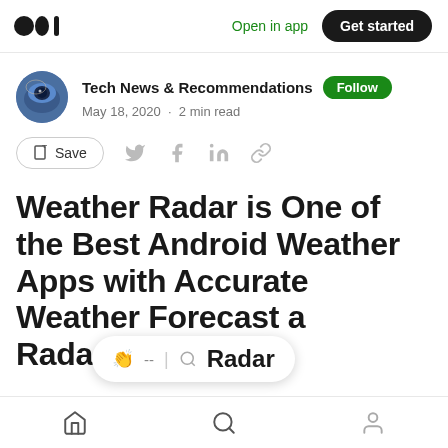Medium logo | Open in app | Get started
Tech News & Recommendations · Follow · May 18, 2020 · 2 min read
Save (share icons)
Weather Radar is One of the Best Android Weather Apps with Accurate Weather Forecast and Radar
Home | Search | Profile (bottom toolbar)